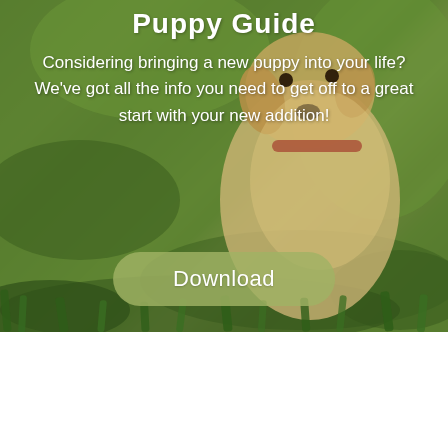[Figure (photo): A golden retriever puppy with a red collar sitting in green grass, serving as a background image for a puppy guide promotional page.]
Puppy Guide
Considering bringing a new puppy into your life? We've got all the info you need to get off to a great start with your new addition!
Download